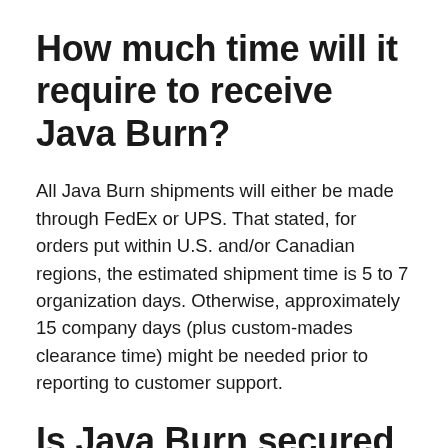How much time will it require to receive Java Burn?
All Java Burn shipments will either be made through FedEx or UPS. That stated, for orders put within U.S. and/or Canadian regions, the estimated shipment time is 5 to 7 organization days. Otherwise, approximately 15 company days (plus custom-mades clearance time) might be needed prior to reporting to customer support.
Is Java Burn secured by a money-back warranty?